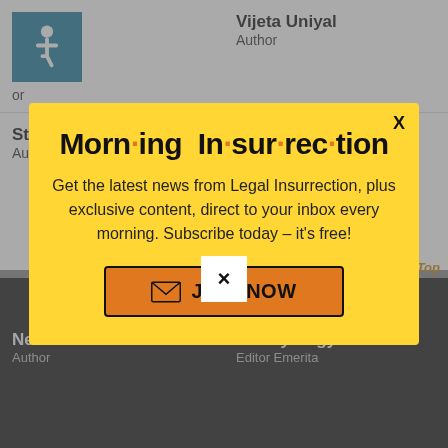Eastman
Author
Vijeta Uniyal
Author
Stacey Matthews
Author
Johanna Markind
Research Editor
[Figure (infographic): Morning Insurrection newsletter signup modal popup on yellow background. Text reads: Get the latest news from Legal Insurrection, plus exclusive content, direct to your inbox every morning. Subscribe today – it's free! With a JOIN NOW button.]
New Neo
Author
Mandy Nagy
Editor Emerita